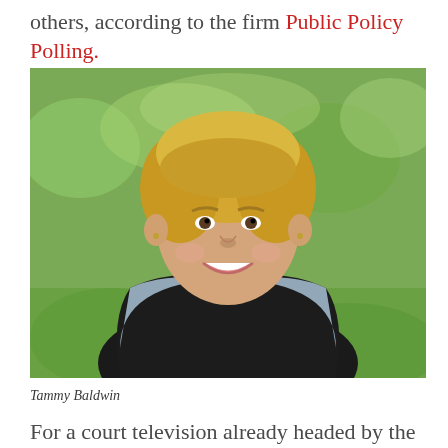others, according to the firm Public Policy Polling.
[Figure (photo): Portrait photo of Tammy Baldwin, a woman with short blonde hair, wearing a black vest over a light blue turtleneck, smiling outdoors with a green grassy background.]
Tammy Baldwin
For a court television already headed by the U.S.